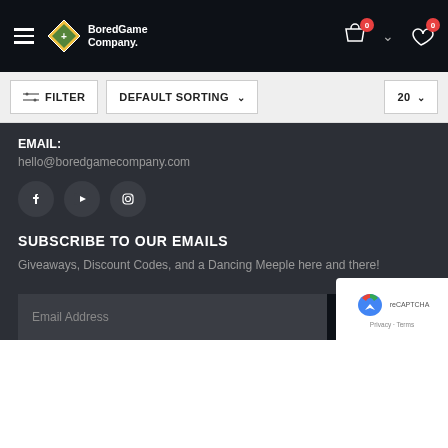BoredGame Company. Navigation bar with hamburger menu, logo, cart icon (0), and wishlist icon (0)
FILTER | DEFAULT SORTING | 20
EMAIL:
hello@boredgamecompany.com
[Figure (other): Social media icons: Facebook, YouTube, Instagram in dark circles]
SUBSCRIBE TO OUR EMAILS
Giveaways, Discount Codes, and a Dancing Meeple here and there!
Email Address [input field] SUBSCRIBE [button]
[Figure (other): reCAPTCHA widget with Privacy and Terms links]